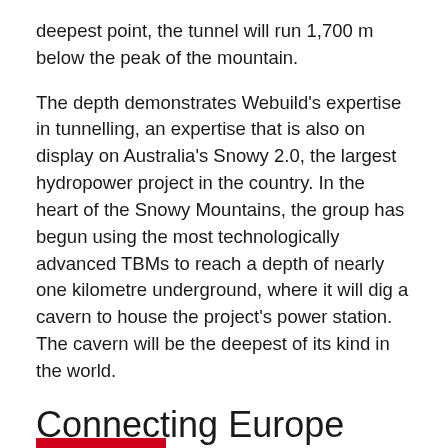deepest point, the tunnel will run 1,700 m below the peak of the mountain.
The depth demonstrates Webuild's expertise in tunnelling, an expertise that is also on display on Australia's Snowy 2.0, the largest hydropower project in the country. In the heart of the Snowy Mountains, the group has begun using the most technologically advanced TBMs to reach a depth of nearly one kilometre underground, where it will dig a cavern to house the project's power station. The cavern will be the deepest of its kind in the world.
Connecting Europe
Upon completion, the Brenner Base Tunnel will become an important part of the Scandinavian-Mediterranean Corridor of the Trans-European